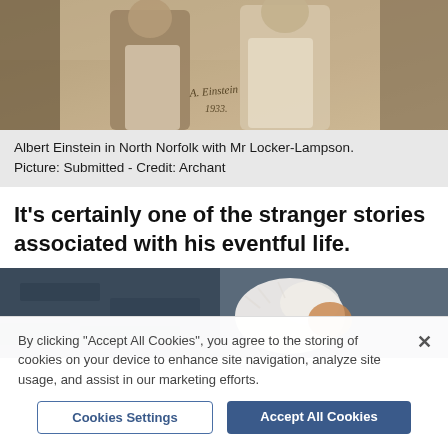[Figure (photo): Sepia-toned historical photograph of Albert Einstein and Mr Locker-Lampson standing outdoors. A handwritten signature and date appear on the photo.]
Albert Einstein in North Norfolk with Mr Locker-Lampson. Picture: Submitted - Credit: Archant
It's certainly one of the stranger stories associated with his eventful life.
[Figure (photo): Partial outdoor photograph with dark stone wall background and a light-colored fluffy animal (possibly a dog or cat) visible in the center-right area.]
By clicking "Accept All Cookies", you agree to the storing of cookies on your device to enhance site navigation, analyze site usage, and assist in our marketing efforts.
Cookies Settings
Accept All Cookies